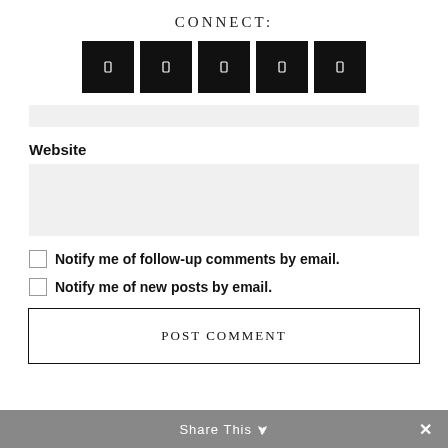CONNECT:
[Figure (illustration): Five black square social media icon buttons in a row]
[Figure (screenshot): Short gray input field (text input, partially visible at top)]
Website
[Figure (screenshot): Tall gray input field for Website]
Notify me of follow-up comments by email.
Notify me of new posts by email.
POST COMMENT
Share This